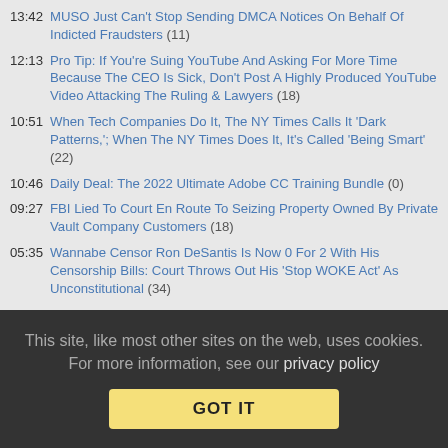13:42 MUSO Just Can't Stop Sending DMCA Notices On Behalf Of Indicted Fraudsters (11)
12:13 Pro Tip: If You're Suing YouTube And Asking For More Time Because The CEO Is Sick, Don't Post A Highly Produced YouTube Video Attacking The Ruling & Lawyers (18)
10:51 When Tech Companies Do It, The NY Times Calls It 'Dark Patterns,'; When The NY Times Does It, It's Called 'Being Smart' (22)
10:46 Daily Deal: The 2022 Ultimate Adobe CC Training Bundle (0)
09:27 FBI Lied To Court En Route To Seizing Property Owned By Private Vault Company Customers (18)
05:35 Wannabe Censor Ron DeSantis Is Now 0 For 2 With His Censorship Bills: Court Throws Out His 'Stop WOKE Act' As Unconstitutional (34)
Thursday
20:04 Mariah Carey Sets Off Firestorm Trying To Trademark 'Queen Of Christmas' (24)
14:58 Oracle Now Reviewing TikTok Algorithms And Content Moderation Practices (15)
This site, like most other sites on the web, uses cookies. For more information, see our privacy policy
GOT IT